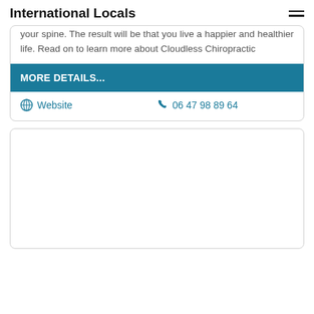International Locals
your spine. The result will be that you live a happier and healthier life. Read on to learn more about Cloudless Chiropractic
MORE DETAILS...
Website   06 47 98 89 64
[Figure (other): Empty white card placeholder]